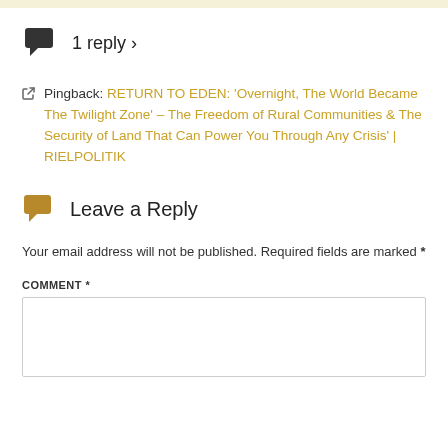1 reply ›
Pingback: RETURN TO EDEN: 'Overnight, The World Became The Twilight Zone' – The Freedom of Rural Communities & The Security of Land That Can Power You Through Any Crisis' | RIELPOLITIK
Leave a Reply
Your email address will not be published. Required fields are marked *
COMMENT *